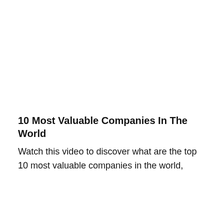10 Most Valuable Companies In The World
Watch this video to discover what are the top 10 most valuable companies in the world,